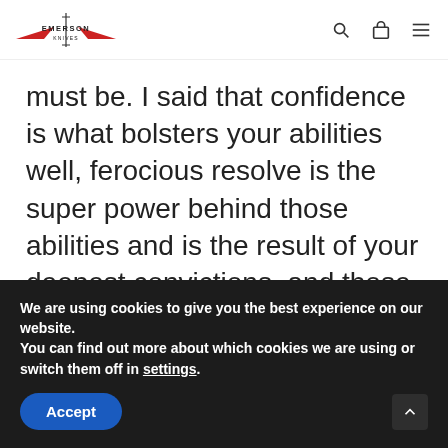Emerson Knives — navigation header with logo, search, bag, and menu icons
must be. I said that confidence is what bolsters your abilities well, ferocious resolve is the super power behind those abilities and is the result of your deepest convictions, and those convictions are; nothing can break me, I will never give up and I will do anything to survive
We are using cookies to give you the best experience on our website.
You can find out more about which cookies we are using or switch them off in settings.
Accept